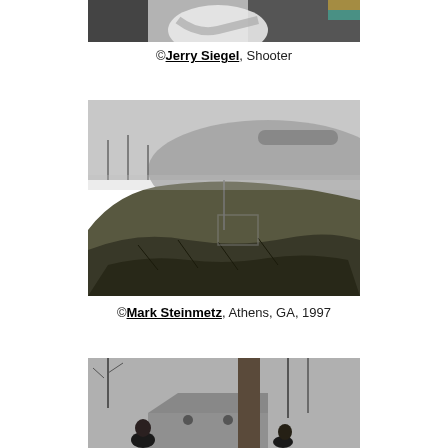[Figure (photo): Partial photo at top showing a person in a white tank top with arms crossed, cropped at the top of the page.]
©Jerry Siegel, Shooter
[Figure (photo): Black and white photograph of a grassy mound or embankment in a foggy landscape, Athens, GA, 1997, by Mark Steinmetz.]
©Mark Steinmetz, Athens, GA, 1997
[Figure (photo): Black and white photograph at the bottom showing people near a tree with a house in the background, partially cropped.]